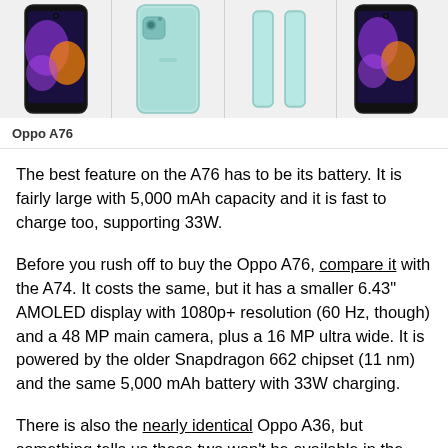[Figure (photo): Four views of the Oppo A76 smartphone — front face with colorful wallpaper, back in light blue/mint color, side profile views, and another front view — displayed in a horizontal strip on a light gray background.]
Oppo A76
The best feature on the A76 has to be its battery. It is fairly large with 5,000 mAh capacity and it is fast to charge too, supporting 33W.
Before you rush off to buy the Oppo A76, compare it with the A74. It costs the same, but it has a smaller 6.43" AMOLED display with 1080p+ resolution (60 Hz, though) and a 48 MP main camera, plus a 16 MP ultra wide. It is powered by the older Snapdragon 662 chipset (11 nm) and the same 5,000 mAh battery with 33W charging.
There is also the nearly identical Oppo A36, but something tells us these two won't be available in the same markets (it's not available in Malaysia, for example).